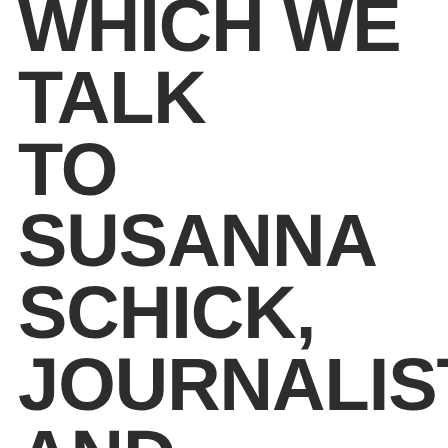WHICH WE TALK TO SUSANNA SCHICK, JOURNALIST AND PRO-ELECTRIC BIKER